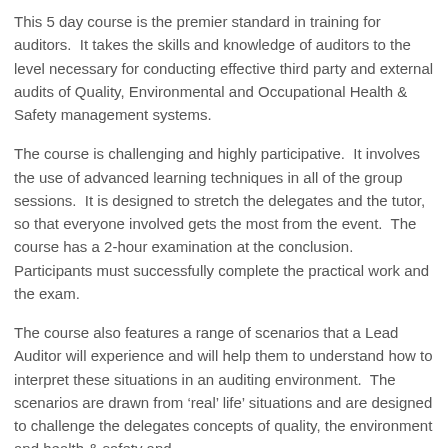This 5 day course is the premier standard in training for auditors.  It takes the skills and knowledge of auditors to the level necessary for conducting effective third party and external audits of Quality, Environmental and Occupational Health & Safety management systems.
The course is challenging and highly participative.  It involves the use of advanced learning techniques in all of the group sessions.  It is designed to stretch the delegates and the tutor, so that everyone involved gets the most from the event.  The course has a 2-hour examination at the conclusion.  Participants must successfully complete the practical work and the exam.
The course also features a range of scenarios that a Lead Auditor will experience and will help them to understand how to interpret these situations in an auditing environment.  The scenarios are drawn from ‘real’ life’ situations and are designed to challenge the delegates concepts of quality, the environment and health & safety and